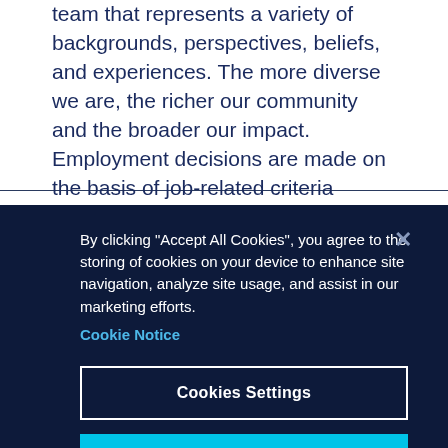team that represents a variety of backgrounds, perspectives, beliefs, and experiences. The more diverse we are, the richer our community and the broader our impact. Employment decisions are made on the basis of job-related criteria without regard to race, color, religion, sex, sexual orientation, gender identity, national origin, disability, veteran status, or any other classification protected by applicable law.
By clicking "Accept All Cookies", you agree to the storing of cookies on your device to enhance site navigation, analyze site usage, and assist in our marketing efforts. Cookie Notice
Cookies Settings
Reject All
Accept All Cookies